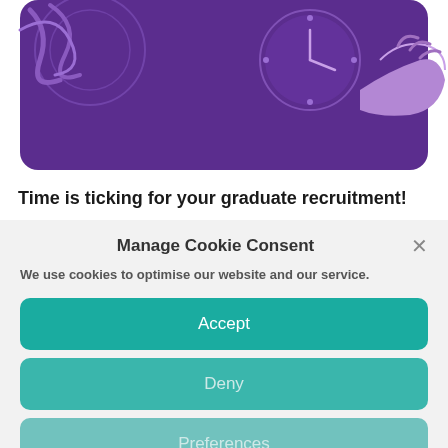[Figure (illustration): Purple background illustration showing hands and circular design elements, partial view cropped at top]
Time is ticking for your graduate recruitment!
Covid put a lot of things on the backburner for
Manage Cookie Consent
We use cookies to optimise our website and our service.
Accept
Deny
Preferences